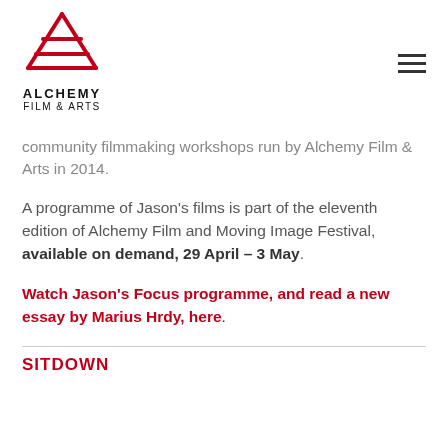[Figure (logo): Alchemy Film & Arts logo — red geometric A shape above text ALCHEMY FILM & ARTS]
community filmmaking workshops run by Alchemy Film & Arts in 2014.
A programme of Jason's films is part of the eleventh edition of Alchemy Film and Moving Image Festival, available on demand, 29 April – 3 May.
Watch Jason's Focus programme, and read a new essay by Marius Hrdy, here.
SITDOWN